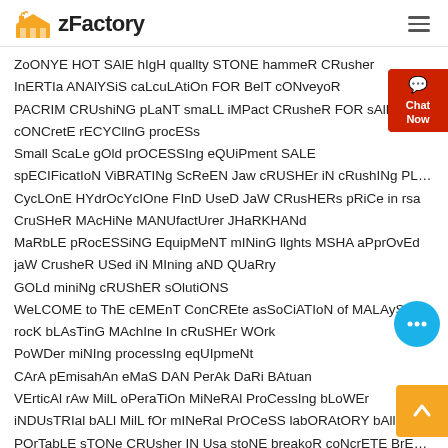zFactory
ZoONYE HOT SAlE hIgH quallty STONE hammeR CRusher
InERTIa ANAlYSiS caLcuLAtiOn FOR BelT cONveyoR
PACRIM CRUshiNG pLaNT smaLL iMPact CRusheR FOR sAlE
cONCretE rECYCllnG procESs
Small ScaLe gOld prOCESSIng eQUiPment SALE
spECIFicatIoN ViBRATINg ScReEN Jaw cRUSHEr iN cRushINg PLant
CycLOnE HYdrOcYcIOne FInD UseD JaW CRusHERs pRiCe in rsa
CruSHeR MAcHiNe MANUfactUrer JHaRKHANd
MaRbLE pRocESSiNG EquipMeNT mINinG llghts MSHA aPprOvEd
jaW CrusheR USed iN MIning aND QUaRry
GOLd miniNg cRUShER sOlutiONS
WeLCOME to ThE cEMEnT ConCREte asSoCiATIoN of MALAySia
rocK bLAsTinG MAchIne In cRuSHEr WOrk
PoWDer miNIng processIng eqUIpmeNt
CArA pEmisahAn eMaS DAN PerAk DaRi BAtuan
VErticAl rAw MilL oPeraTiOn MiNeRAl ProCessIng bLoWEr
iNDUsTRIal bALl MilL fOr mINeRal PrOCeSS labORAtORY bAll miLL
POrTabLE sTONe CRUsher IN Usa stoNE breakoR coNcrETE BrEAkoR